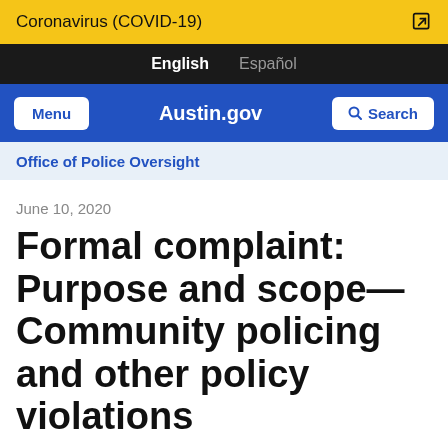Coronavirus (COVID-19)
English  Español
Menu  Austin.gov  Search
Office of Police Oversight
June 10, 2020
Formal complaint: Purpose and scope—Community policing and other policy violations